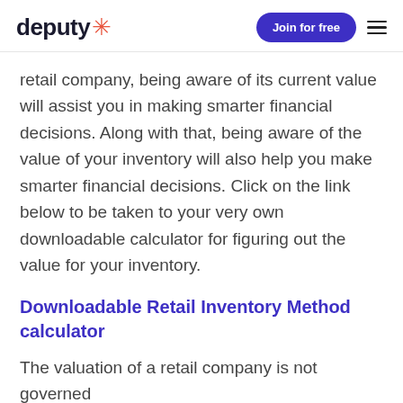deputy [logo] | Join for free | [menu]
retail company, being aware of its current value will assist you in making smarter financial decisions. Along with that, being aware of the value of your inventory will also help you make smarter financial decisions. Click on the link below to be taken to your very own downloadable calculator for figuring out the value for your inventory.
Downloadable Retail Inventory Method calculator
The valuation of a retail company is not governed